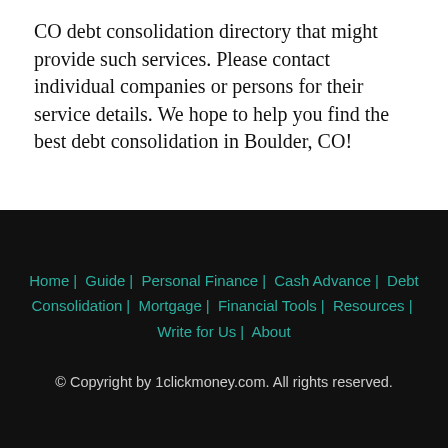CO debt consolidation directory that might provide such services. Please contact individual companies or persons for their service details. We hope to help you find the best debt consolidation in Boulder, CO!
Home | Guide | Personal Finance | Cash Advance | Debt Consolidation | Mortgage | Financial Tools | Resources | Write for Us | About
© Copyright by 1clickmoney.com. All rights reserved.